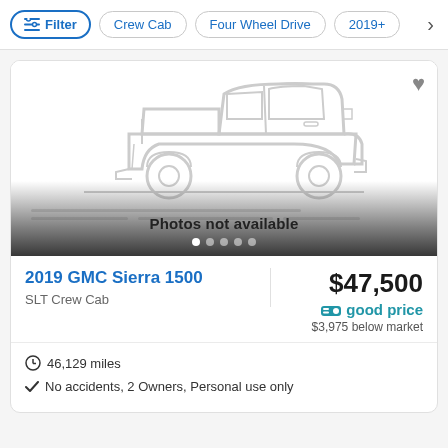Filter | Crew Cab | Four Wheel Drive | 2019+
[Figure (illustration): Placeholder silhouette illustration of a pickup truck, gray outline on white background. Text overlay reads 'Photos not available' with pagination dots below.]
2019 GMC Sierra 1500
SLT Crew Cab
$47,500
good price
$3,975 below market
46,129 miles
No accidents, 2 Owners, Personal use only